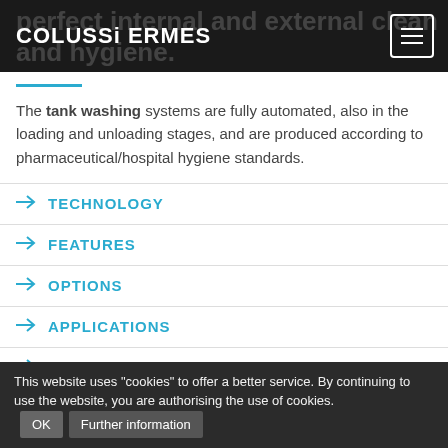COLUSSi ERMES
The tank washing systems are fully automated, also in the loading and unloading stages, and are produced according to pharmaceutical/hospital hygiene standards.
→ TECHNOLOGY
→ FEATURES
→ OPTIONS
→ APPLICATIONS
→ SECTORS
This website uses "cookies" to offer a better service. By continuing to use the website, you are authorising the use of cookies. OK Further information